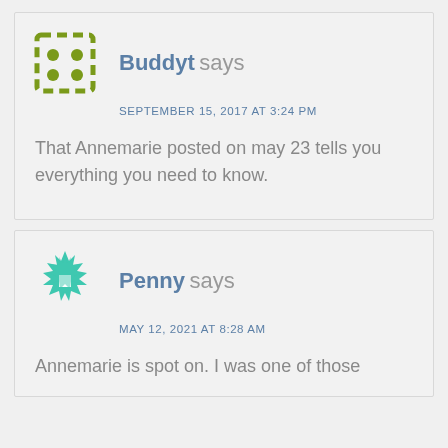[Figure (illustration): Green dashed-border square avatar icon with four dots arranged in a 2x2 grid, representing user Buddyt]
Buddyt says
SEPTEMBER 15, 2017 AT 3:24 PM
That Annemarie posted on may 23 tells you everything you need to know.
[Figure (illustration): Teal/green snowflake or star-shaped avatar icon, representing user Penny]
Penny says
MAY 12, 2021 AT 8:28 AM
Annemarie is spot on. I was one of those